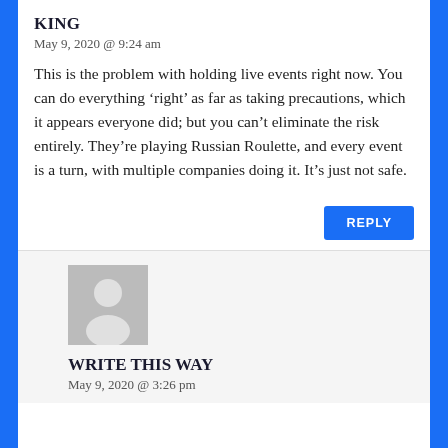KING
May 9, 2020 @ 9:24 am
This is the problem with holding live events right now. You can do everything ‘right’ as far as taking precautions, which it appears everyone did; but you can’t eliminate the risk entirely. They’re playing Russian Roulette, and every event is a turn, with multiple companies doing it. It’s just not safe.
REPLY
[Figure (illustration): Grey placeholder avatar icon showing a generic silhouette of a person]
WRITE THIS WAY
May 9, 2020 @ 3:26 pm